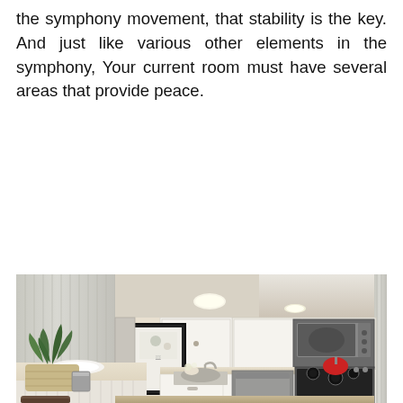the symphony movement, that stability is the key. And just like various other elements in the symphony, Your current room must have several areas that provide peace.
[Figure (photo): A bright, modern small kitchen with white cabinetry, stainless steel appliances including an over-the-range microwave and electric range, a kitchen island with a white plate, a green potted plant, a framed artwork on the wall, recessed lighting, and a beadboard accent wall.]